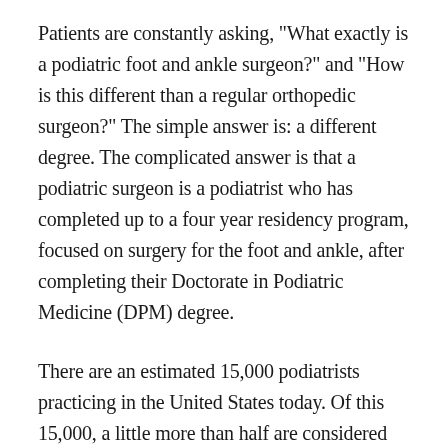Patients are constantly asking, "What exactly is a podiatric foot and ankle surgeon?" and "How is this different than a regular orthopedic surgeon?" The simple answer is: a different degree. The complicated answer is that a podiatric surgeon is a podiatrist who has completed up to a four year residency program, focused on surgery for the foot and ankle, after completing their Doctorate in Podiatric Medicine (DPM) degree.
There are an estimated 15,000 podiatrists practicing in the United States today. Of this 15,000, a little more than half are considered podiatric foot and ankle surgeons. All podiatrists have a four year undergraduate degree followed by four more years